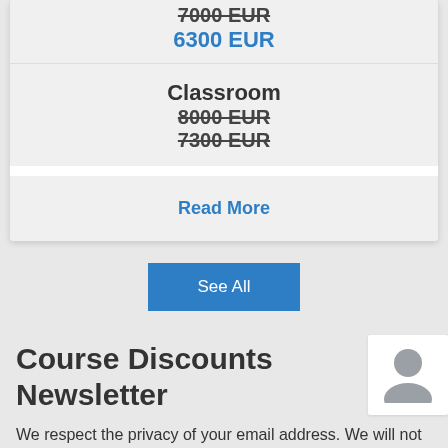7000 EUR (strikethrough)
6300 EUR
Classroom
8000 EUR (strikethrough)
7300 EUR (strikethrough)
Read More
See All
Course Discounts Newsletter
We respect the privacy of your email address. We will not pass on or sell your address to others.